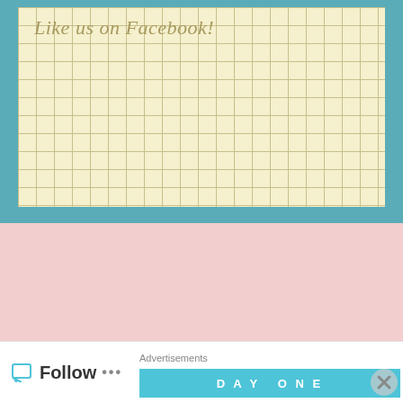[Figure (other): Grid-paper style background with teal/cyan border and yellow-cream grid paper texture]
Like us on Facebook!
Pages at RetroRevival
About The Authors!
Need Inspiration?
Privacy Disclosure
Advertisements  DAY ONE